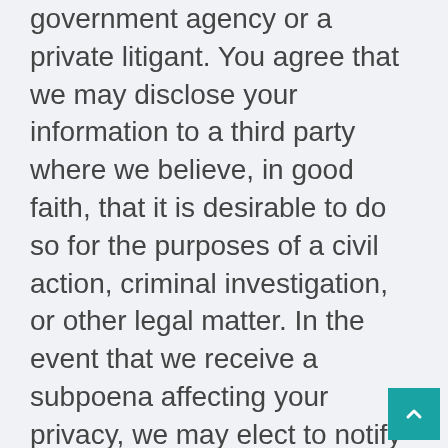government agency or a private litigant. You agree that we may disclose your information to a third party where we believe, in good faith, that it is desirable to do so for the purposes of a civil action, criminal investigation, or other legal matter. In the event that we receive a subpoena affecting your privacy, we may elect to notify you to give you an opportunity to file a motion to quash the subpoena, or we may attempt to quash it ourselves, but we are not obligated to do either. We may also proactively report you, and release your information to, third parties where we believe that it is prudent to do so for legal reasons, such as our belief that you have engaged in fraudulent activities. You release us